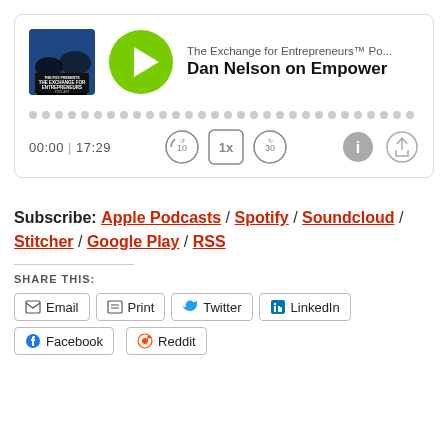[Figure (screenshot): Podcast player card showing 'The Exchange for Entrepreneurs Podcast' with episode title 'Dan Nelson on Empower', play button, progress bar dots, time display 00:00 | 17:29, and playback controls (rewind 10, 1x speed, forward 30, info, share).]
Subscribe: Apple Podcasts / Spotify / Soundcloud / Stitcher / Google Play / RSS
SHARE THIS:
Email | Print | Twitter | LinkedIn | Facebook | Reddit